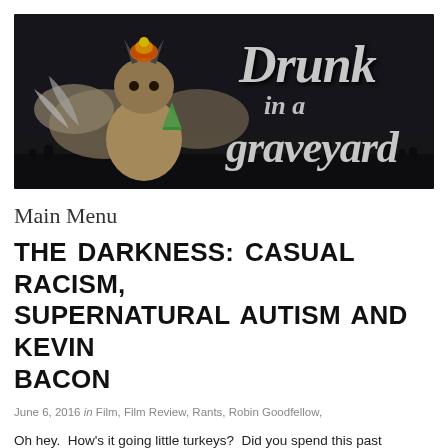[Figure (illustration): Banner image for 'Drunk in a Graveyard' blog. Dark background with a muscular winged demon/monster creature on the left holding a green drink, with fire on its head. On the right in large white distressed/horror font text reads 'Drunk in a graveyard'. Graveyard silhouette at the bottom.]
Main Menu
THE DARKNESS: CASUAL RACISM, SUPERNATURAL AUTISM AND KEVIN BACON
June 6, 2016 in Film, Film Review, Rants, Robin Goodfellow,
Oh hey.  How's it going little turkeys?  Did you spend this past weekend in